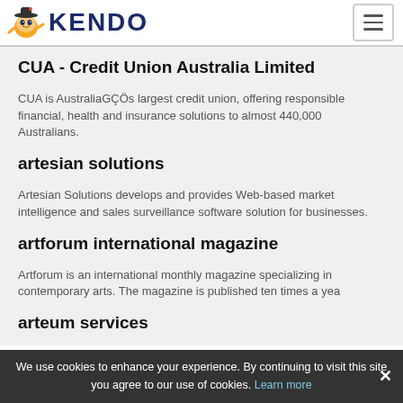KENDO
CUA - Credit Union Australia Limited
CUA is AustraliaGÇÖs largest credit union, offering responsible financial, health and insurance solutions to almost 440,000 Australians.
artesian solutions
Artesian Solutions develops and provides Web-based market intelligence and sales surveillance software solution for businesses.
artforum international magazine
Artforum is an international monthly magazine specializing in contemporary arts. The magazine is published ten times a yea
arteum services
We use cookies to enhance your experience. By continuing to visit this site you agree to our use of cookies. Learn more